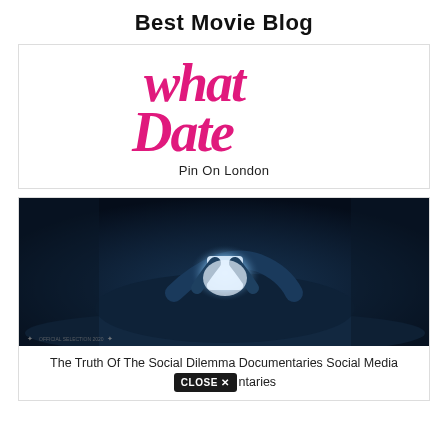Best Movie Blog
[Figure (illustration): Pink cursive text logo showing 'what Dates' partially visible, on white background]
Pin On London
[Figure (photo): Dark moody photo of person lying in bed holding a glowing smartphone above their face in a dark room, with official selection laurel wreath text at bottom]
The Truth Of The Social Dilemma Documentaries Social Media Documentaries